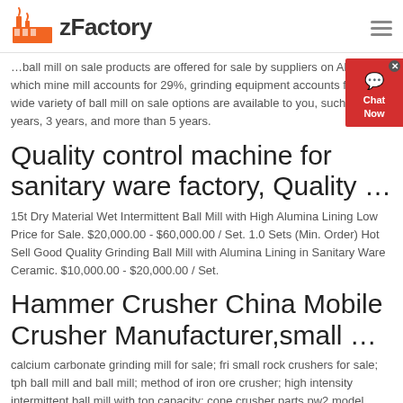zFactory
…of which mine mill accounts for 29%, grinding equipment accounts for 1%. A wide variety of ball mill on sale options are available to you, such as 1.5 years, 3 years, and more than 5 years.
Quality control machine for sanitary ware factory, Quality …
15t Dry Material Wet Intermittent Ball Mill with High Alumina Lining Low Price for Sale. $20,000.00 - $60,000.00 / Set. 1.0 Sets (Min. Order) Hot Sell Good Quality Grinding Ball Mill with Alumina Lining in Sanitary Ware Ceramic. $10,000.00 - $20,000.00 / Set.
Hammer Crusher China Mobile Crusher Manufacturer,small …
calcium carbonate grinding mill for sale; fri small rock crushers for sale; tph ball mill and ball mill; method of iron ore crusher; high intensity intermittent ball mill with ton capacity; cone crusher parts pw2 model